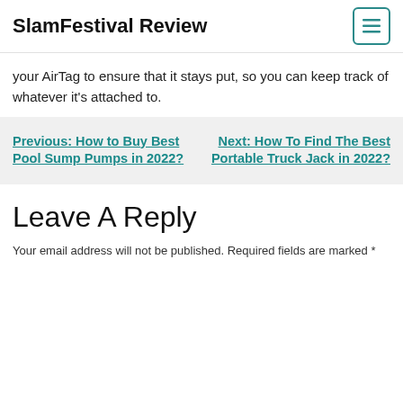SlamFestival Review
your AirTag to ensure that it stays put, so you can keep track of whatever it's attached to.
Previous: How to Buy Best Pool Sump Pumps in 2022?
Next: How To Find The Best Portable Truck Jack in 2022?
Leave A Reply
Your email address will not be published. Required fields are marked *